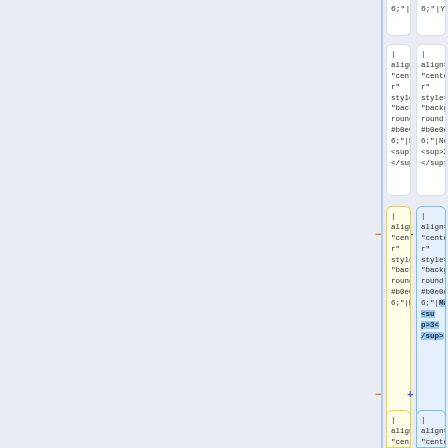[Figure (screenshot): A diff/comparison view showing code cells with wiki table markup. Left column shows old version, right column shows new version. Cells contain wiki markup: | align="center" style="background:#b0e0e6;"|Yes, No<sup>2</sup>, No (highlighted in yellow), Maybe<sup>3</sup> (highlighted in blue). Diff markers (minus/plus) indicate removed and added content.]